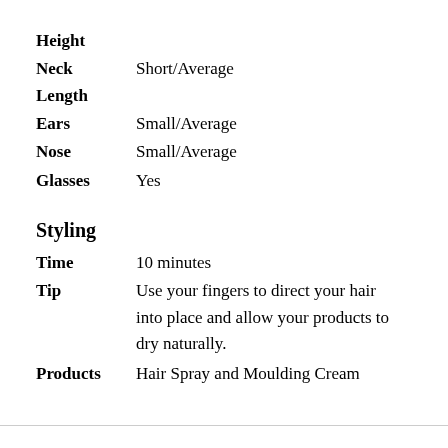Height
Neck Length    Short/Average
Ears    Small/Average
Nose    Small/Average
Glasses    Yes
Styling
Time    10 minutes
Tip    Use your fingers to direct your hair into place and allow your products to dry naturally.
Products    Hair Spray and Moulding Cream